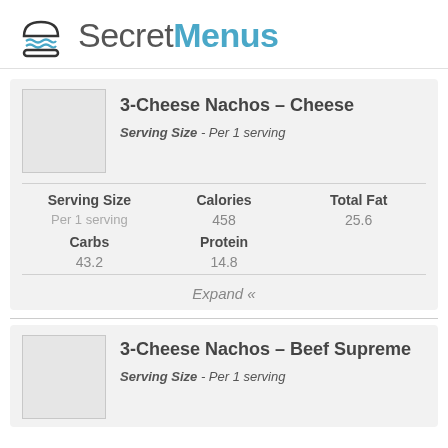SecretMenus
[Figure (logo): SecretMenus logo with burger icon and text]
3-Cheese Nachos – Cheese
Serving Size - Per 1 serving
| Serving Size | Calories | Total Fat |
| --- | --- | --- |
| Per 1 serving | 458 | 25.6 |
| Carbs | Protein |  |
| 43.2 | 14.8 |  |
Expand «
3-Cheese Nachos – Beef Supreme
Serving Size - Per 1 serving